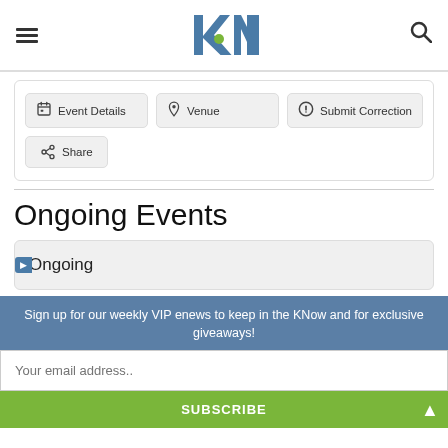kN (logo) with hamburger menu and search icon
[Figure (screenshot): Event action buttons: Event Details, Venue, Submit Correction, Share]
Ongoing Events
Ongoing
Sign up for our weekly VIP enews to keep in the KNow and for exclusive giveaways!
Your email address..
SUBSCRIBE